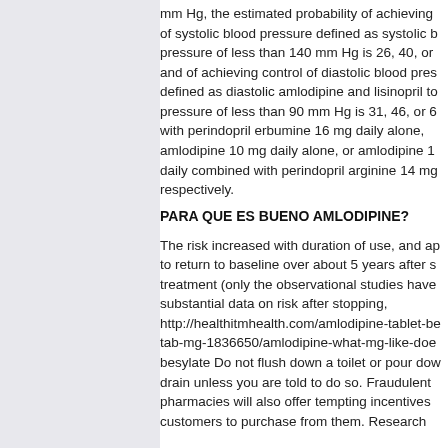mm Hg, the estimated probability of achieving of systolic blood pressure defined as systolic b pressure of less than 140 mm Hg is 26, 40, or and of achieving control of diastolic blood pres defined as diastolic amlodipine and lisinopril to pressure of less than 90 mm Hg is 31, 46, or 6 with perindopril erbumine 16 mg daily alone, amlodipine 10 mg daily alone, or amlodipine 1 daily combined with perindopril arginine 14 mg respectively.
PARA QUE ES BUENO AMLODIPINE?
The risk increased with duration of use, and ap to return to baseline over about 5 years after s treatment (only the observational studies have substantial data on risk after stopping, http://healthitmhealth.com/amlodipine-tablet-be tab-mg-1836650/amlodipine-what-mg-like-doe besylate Do not flush down a toilet or pour dow drain unless you are told to do so. Fraudulent pharmacies will also offer tempting incentives customers to purchase from them. Research